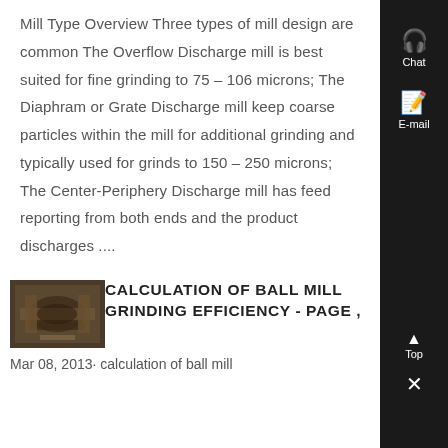Mill Type Overview Three types of mill design are common The Overflow Discharge mill is best suited for fine grinding to 75 – 106 microns; The Diaphram or Grate Discharge mill keep coarse particles within the mill for additional grinding and typically used for grinds to 150 – 250 microns; The Center-Periphery Discharge mill has feed reporting from both ends and the product discharges ....
[Figure (photo): Thumbnail photo of industrial ball mill equipment]
CALCULATION OF BALL MILL GRINDING EFFICIENCY - Page ,
Mar 08, 2013· calculation of ball mill